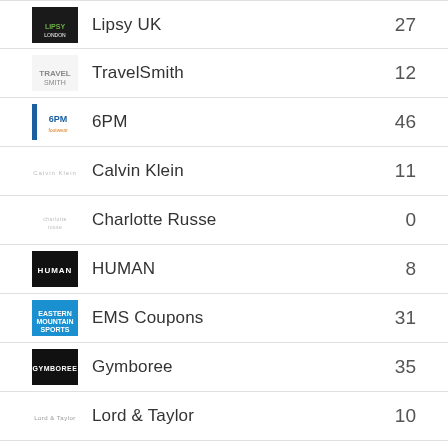Lipsy UK  27
TravelSmith  12
6PM  46
Calvin Klein  11
Charlotte Russe  0
HUMAN  8
EMS Coupons  31
Gymboree  35
Lord & Taylor  10